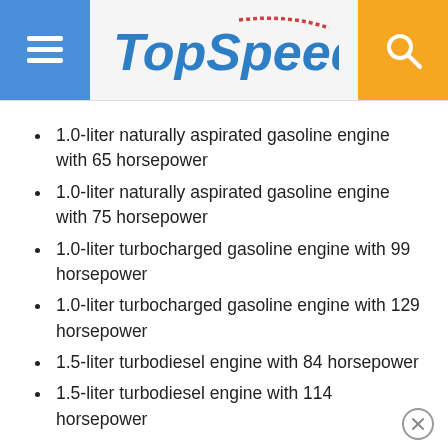TopSpeed
1.0-liter naturally aspirated gasoline engine with 65 horsepower
1.0-liter naturally aspirated gasoline engine with 75 horsepower
1.0-liter turbocharged gasoline engine with 99 horsepower
1.0-liter turbocharged gasoline engine with 129 horsepower
1.5-liter turbodiesel engine with 84 horsepower
1.5-liter turbodiesel engine with 114 horsepower
I know you want to know more about the Clio GT and the Clio R.S. Nothing is official as of yet, but I do think that this will be all the jazz about them: